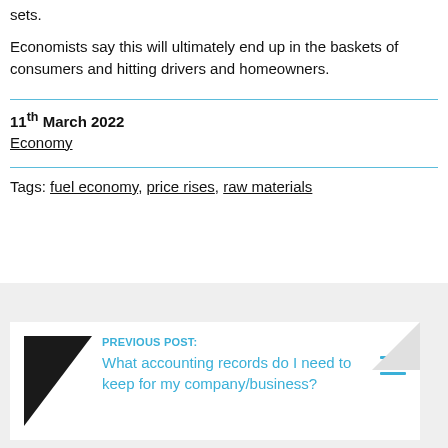sets.
Economists say this will ultimately end up in the baskets of consumers and hitting drivers and homeowners.
11th March 2022
Economy
Tags: fuel economy, price rises, raw materials
PREVIOUS POST: What accounting records do I need to keep for my company/business?